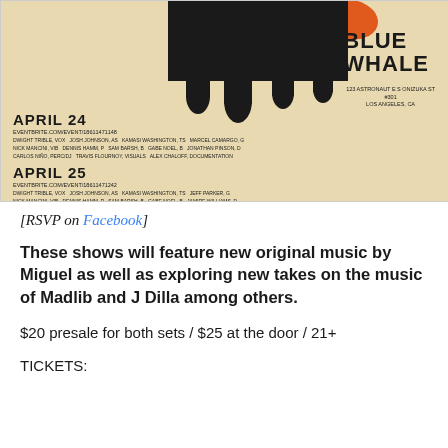[Figure (illustration): Concert poster for Blue Whale venue showing black dripping paint shape on tan/cream background with orange splash at top. Shows two dates: April 24 and April 25 with performer lineups, venue address 123 Astronaut E S Onizuka St #301 Los Angeles CA, eventbrite URLs, and pricing $20ADV / $25DOOR.]
[RSVP on Facebook]
These shows will feature new original music by Miguel as well as exploring new takes on the music of Madlib and J Dilla among others.
$20 presale for both sets / $25 at the door / 21+
TICKETS: